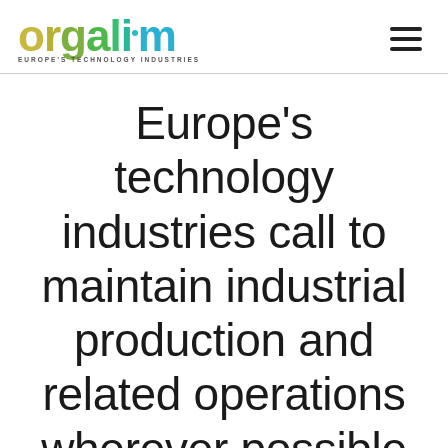[Figure (logo): Orgalim logo with colorful text 'orgalim' and subtitle 'EUROPE'S TECHNOLOGY INDUSTRIES']
Europe's technology industries call to maintain industrial production and related operations wherever possible